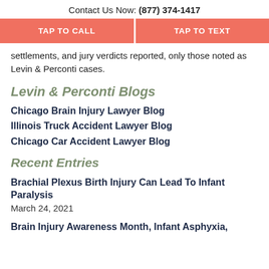Contact Us Now: (877) 374-1417
[Figure (other): Two salmon/coral colored call-to-action buttons: TAP TO CALL and TAP TO TEXT]
settlements, and jury verdicts reported, only those noted as Levin & Perconti cases.
Levin & Perconti Blogs
Chicago Brain Injury Lawyer Blog
Illinois Truck Accident Lawyer Blog
Chicago Car Accident Lawyer Blog
Recent Entries
Brachial Plexus Birth Injury Can Lead To Infant Paralysis
March 24, 2021
Brain Injury Awareness Month, Infant Asphyxia,